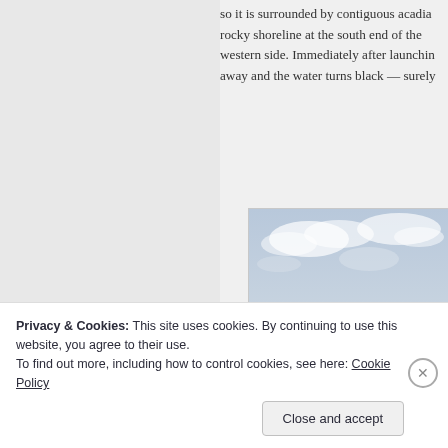so it is surrounded by contiguous acadia rocky shoreline at the south end of the western side. Immediately after launching away and the water turns black — surely
[Figure (photo): A lake or pond with calm dark water reflecting the sky, forested hills in the background, overcast sky with clouds. In the bottom right corner, a person wearing a hat and sunglasses is partially visible.]
Privacy & Cookies: This site uses cookies. By continuing to use this website, you agree to their use.
To find out more, including how to control cookies, see here: Cookie Policy
Close and accept